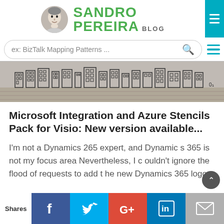SANDRO PEREIRA BLOG
ex: BizTalk Mapping Patterns ...
[Figure (photo): Black and white banner photo showing a row of miniature building stencils/icons along a brick wall surface]
Microsoft Integration and Azure Stencils Pack for Visio: New version available...
I'm not a Dynamics 265 expert, and Dynamics 365 is not my focus area Nevertheless, I couldn't ignore the flood of requests to add the new Dynamics 365 logos,
Shares  [Facebook] [Twitter] [G+] [LinkedIn] [Email]